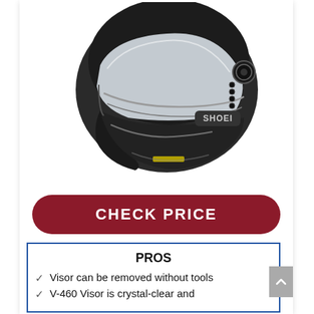[Figure (photo): SHOEI brand motorcycle helmet, black with silver graphic accents, shown in profile/three-quarter view with clear visor]
CHECK PRICE
PROS
Visor can be removed without tools
V-460 Visor is crystal-clear and